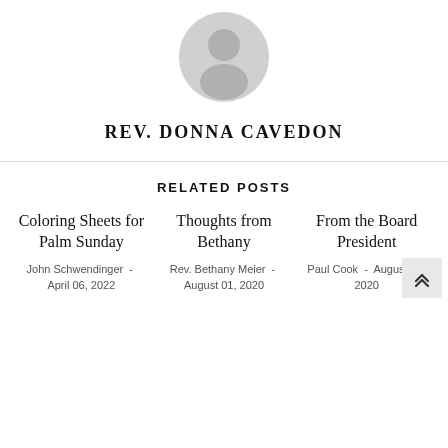[Figure (illustration): Generic grey avatar/profile placeholder icon showing a silhouetted person (head and shoulders) in a circle]
REV. DONNA CAVEDON
RELATED POSTS
Coloring Sheets for Palm Sunday
John Schwendinger - April 06, 2022
Thoughts from Bethany
Rev. Bethany Meier - August 01, 2020
From the Board President
Paul Cook - August 01, 2020